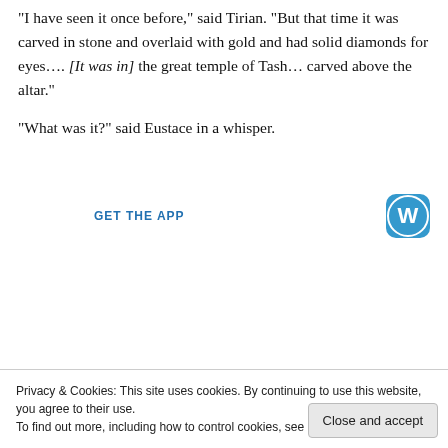"I have seen it once before," said Tirian. "But that time it was carved in stone and overlaid with gold and had solid diamonds for eyes…. [It was in] the great temple of Tash… carved above the altar."
"What was it?" said Eustace in a whisper.
[Figure (screenshot): WordPress app advertisement banner with large bold text reading 'habit. Post on the go.' and a 'GET THE APP' call-to-action link with a WordPress logo icon.]
Privacy & Cookies: This site uses cookies. By continuing to use this website, you agree to their use.
To find out more, including how to control cookies, see here: Cookie Policy